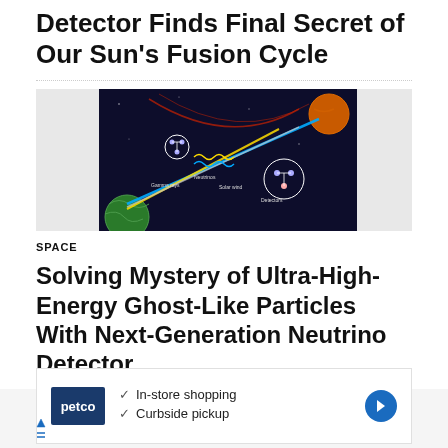Detector Finds Final Secret of Our Sun's Fusion Cycle
[Figure (illustration): Scientific illustration of neutrino types and solar fusion cycle with diagram showing particle interactions, rays, and Earth]
SPACE
Solving Mystery of Ultra-High-Energy Ghost-Like Particles With Next-Generation Neutrino Detector
[Figure (other): Advertisement for Petco featuring in-store shopping and curbside pickup options with Petco logo and navigation arrow icon]